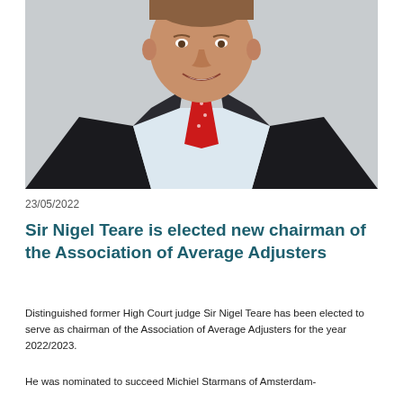[Figure (photo): Professional headshot of Sir Nigel Teare, a middle-aged man in a dark suit and red tie, smiling, on a light grey background.]
23/05/2022
Sir Nigel Teare is elected new chairman of the Association of Average Adjusters
Distinguished former High Court judge Sir Nigel Teare has been elected to serve as chairman of the Association of Average Adjusters for the year 2022/2023.
He was nominated to succeed Michiel Starmans of Amsterdam-